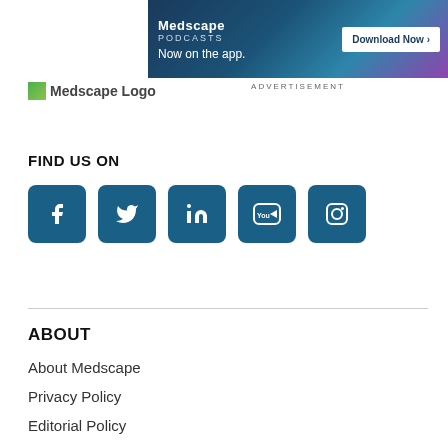[Figure (illustration): Medscape Podcasts advertisement banner with 'Now on the app.' text and 'Download Now' button]
ADVERTISEMENT
[Figure (logo): Medscape Logo with green icon]
FIND US ON
[Figure (illustration): Social media icons: Facebook, Twitter, LinkedIn, YouTube, Instagram]
ABOUT
About Medscape
Privacy Policy
Editorial Policy
Cookies
Terms of Use
Advertising Policy
Help Center